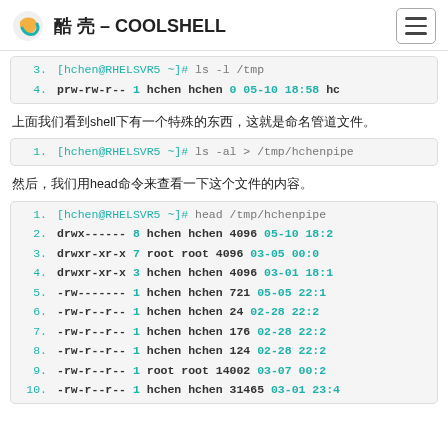酷 壳 – COOLSHELL
[code block] 3. [hchen@RHELSVR5 ~]# ls -l /tmp  4. prw-rw-r-- 1 hchen  hchen  0 05-10 18:58 hc
上面我们看到shell下有一个特殊的东西，这就是命名管道文件。
[code block] 1. [hchen@RHELSVR5 ~]# ls -al > /tmp/hchenpipe
然后，我们用head命令来查看一下这个文件的内容。
[code block lines 1-10] head /tmp/hchenpipe output